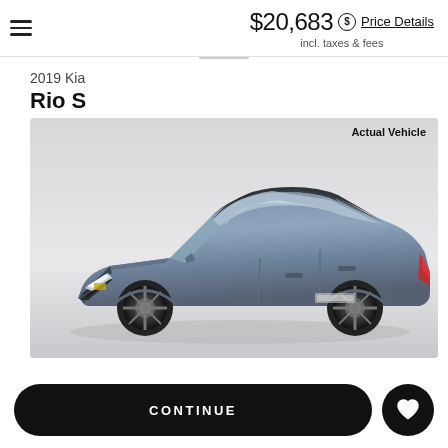≡  $20,683  Price Details  incl. taxes & fees
2019 Kia
Rio S
[Figure (photo): Photo of a 2019 Kia Rio S sedan in steel blue/gray color, shown at a front three-quarter angle on a white/light gray background. Text overlay in upper right reads 'Actual Vehicle'.]
CONTINUE